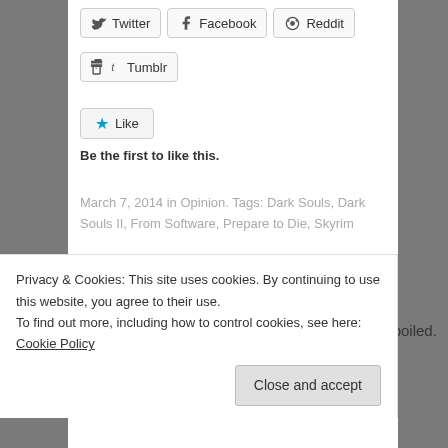[Figure (screenshot): Social share buttons: Twitter, Facebook, Reddit, Tumblr]
[Figure (screenshot): Like button with star icon]
Be the first to like this.
March 7, 2014 in Opinion. Tags: Dark Souls, Dark Souls II, From Software, Prepare to Die, Skyrim
Related posts
[Figure (photo): Thumbnail image for #MadMonday post, showing a man with YOU SUCK text at bottom]
#MadMonday: Shut up. You're Spoiled.
Privacy & Cookies: This site uses cookies. By continuing to use this website, you agree to their use.
To find out more, including how to control cookies, see here: Cookie Policy
Close and accept